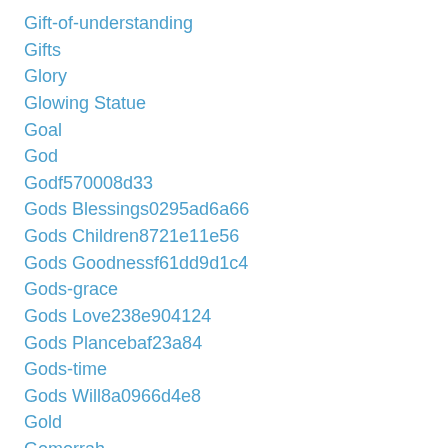Gift-of-understanding
Gifts
Glory
Glowing Statue
Goal
God
Godf570008d33
Gods Blessings0295ad6a66
Gods Children8721e11e56
Gods Goodnessf61dd9d1c4
Gods-grace
Gods Love238e904124
Gods Plancebaf23a84
Gods-time
Gods Will8a0966d4e8
Gold
Gomorrah
Good
Good And Evil
Good-deeds
Good Example